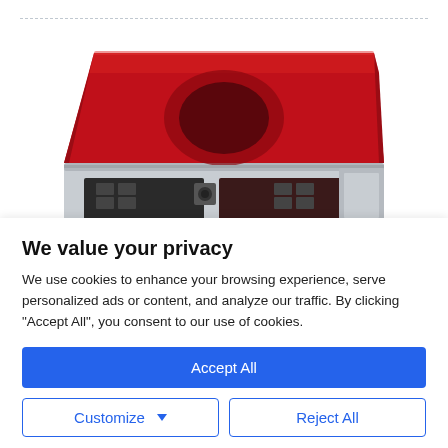[Figure (photo): A red and silver industrial resin 3D printer or similar machine, viewed from the front-side angle, showing a red acrylic hood and silver base with connectors, on a white background.]
We value your privacy
We use cookies to enhance your browsing experience, serve personalized ads or content, and analyze our traffic. By clicking "Accept All", you consent to our use of cookies.
Accept All
Customize
Reject All